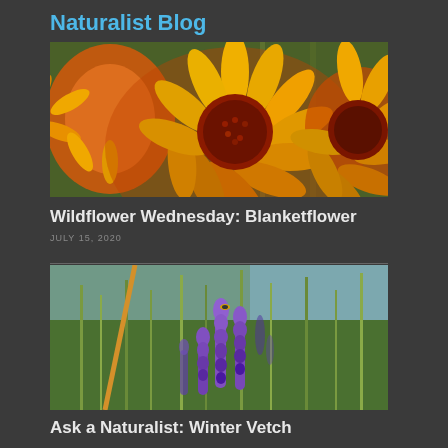Naturalist Blog
[Figure (photo): Close-up of orange and yellow blanketflowers (Gaillardia) with red centers, in bright outdoor sunlight]
Wildflower Wednesday: Blanketflower
JULY 15, 2020
[Figure (photo): Purple wildflowers (Winter Vetch) growing in a green meadow with tall grass and blue sky in background]
Ask a Naturalist: Winter Vetch